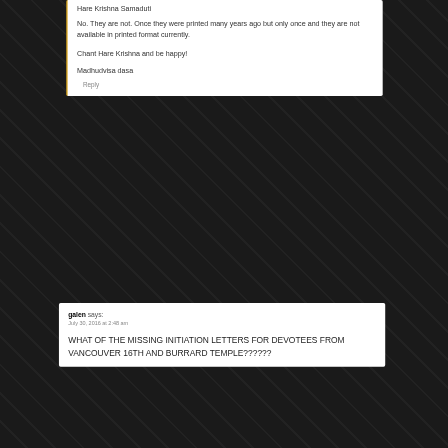Hare Krishna Samaduti
No. They are not. Once they were printed many years ago but only once and they are not available in printed format currently.
Chant Hare Krishna and be happy!
Madhudvisa dasa
Reply
galen says:
July 30, 2016 at 2:48 am
WHAT OF THE MISSING INITIATION LETTERS FOR DEVOTEES FROM VANCOUVER 16TH AND BURRARD TEMPLE??????